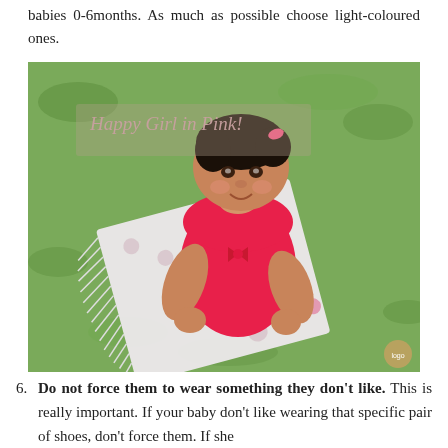babies 0-6months. As much as possible choose light-coloured ones.
[Figure (photo): A happy baby girl wearing a pink outfit sitting on a patterned blanket on grass, viewed from above. Overlaid text reads 'Happy Girl in Pink!']
6. DO NOT FORCE THEM TO WEAR SOMETHING THEY DON'T LIKE. This is really important. If your baby don't like wearing that specific pair of shoes, don't force them. If she